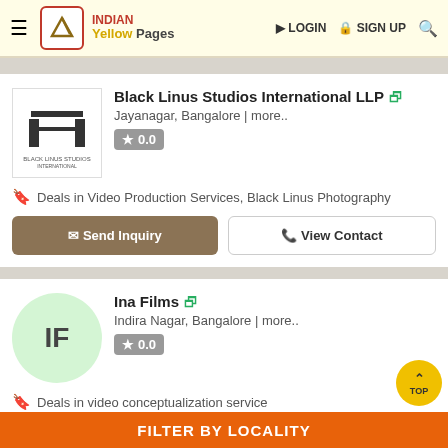INDIAN Yellow Pages | LOGIN | SIGN UP
Black Linus Studios International LLP
Jayanagar, Bangalore | more..
0.0
Deals in Video Production Services, Black Linus Photography
Send Inquiry | View Contact
Ina Films
Indira Nagar, Bangalore | more..
0.0
Deals in video conceptualization service
Send Inquiry | View Contact
FILTER BY LOCALITY